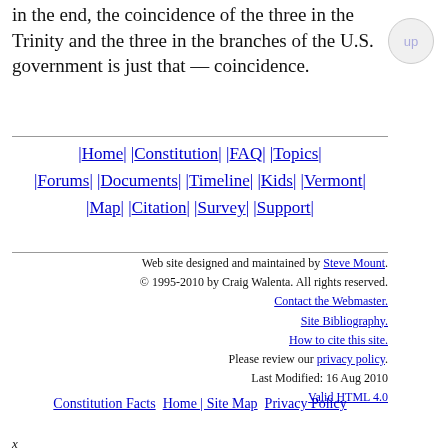in the end, the coincidence of the three in the Trinity and the three in the branches of the U.S. government is just that — coincidence.
|Home| |Constitution| |FAQ| |Topics| |Forums| |Documents| |Timeline| |Kids| |Vermont| |Map| |Citation| |Survey| |Support|
Web site designed and maintained by Steve Mount. © 1995-2010 by Craig Walenta. All rights reserved. Contact the Webmaster. Site Bibliography. How to cite this site. Please review our privacy policy. Last Modified: 16 Aug 2010 Valid HTML 4.0
Constitution Facts  Home | Site Map  Privacy Policy